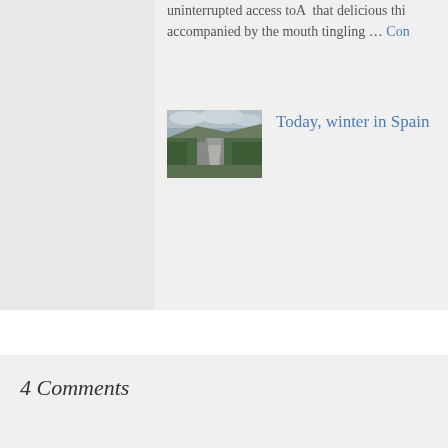uninterrupted access toA that delicious thi… accompanied by the mouth tingling … Con…
[Figure (photo): Aerial view of a river winding through green vegetation and rocky terrain in Spain, under a cloudy sky]
Today, winter in Spain
4 Comments